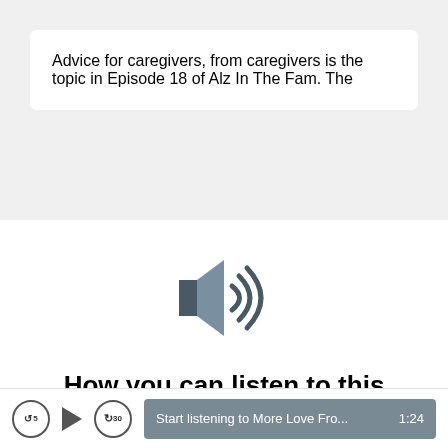Advice for caregivers, from caregivers is the topic in Episode 18 of Alz In The Fam. The
[Figure (illustration): Speaker/audio icon in blue-grey color indicating audio content]
How you can listen to this podcast
[Figure (screenshot): Podcast player controls: skip back 5s button, play button, skip forward 30s button, and a grey bar showing 'Start listening to More Love Fro... 1:24']